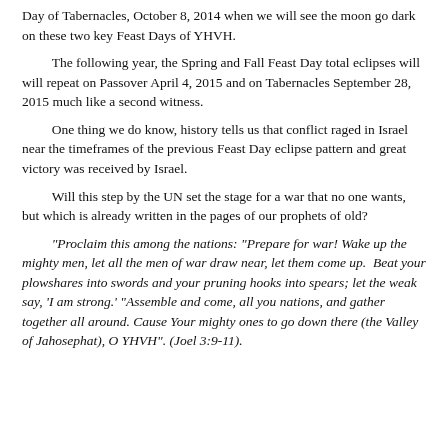Day of Tabernacles, October 8, 2014 when we will see the moon go dark on these two key Feast Days of YHVH.
The following year, the Spring and Fall Feast Day total eclipses will will repeat on Passover April 4, 2015 and on Tabernacles September 28, 2015 much like a second witness.
One thing we do know, history tells us that conflict raged in Israel near the timeframes of the previous Feast Day eclipse pattern and great victory was received by Israel.
Will this step by the UN set the stage for a war that no one wants, but which is already written in the pages of our prophets of old?
"Proclaim this among the nations: "Prepare for war! Wake up the mighty men, let all the men of war draw near, let them come up.  Beat your plowshares into swords and your pruning hooks into spears; let the weak say, 'I am strong.' "Assemble and come, all you nations, and gather together all around. Cause Your mighty ones to go down there (the Valley of Jahosephat), O YHVH". (Joel 3:9-11).